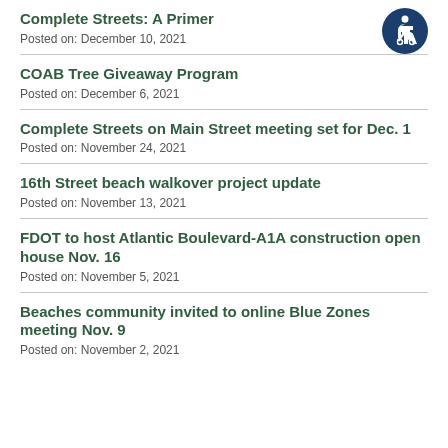Complete Streets: A Primer
Posted on: December 10, 2021
COAB Tree Giveaway Program
Posted on: December 6, 2021
Complete Streets on Main Street meeting set for Dec. 1
Posted on: November 24, 2021
16th Street beach walkover project update
Posted on: November 13, 2021
FDOT to host Atlantic Boulevard-A1A construction open house Nov. 16
Posted on: November 5, 2021
Beaches community invited to online Blue Zones meeting Nov. 9
Posted on: November 2, 2021